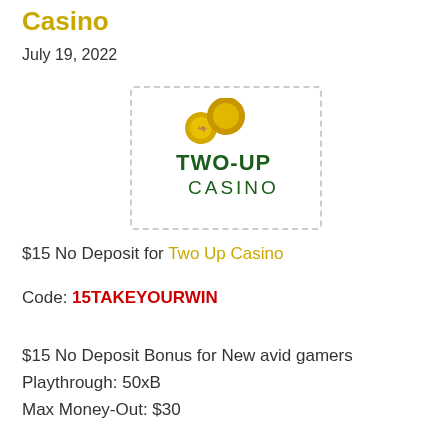Casino
July 19, 2022
[Figure (logo): Two-Up Casino logo with two gold coins above the text TWO-UP CASINO in dark green, inside a dashed border box.]
$15 No Deposit for Two Up Casino
Code: 15TAKEYOURWIN
$15 No Deposit Bonus for New avid gamers
Playthrough: 50xB
Max Money-Out: $30